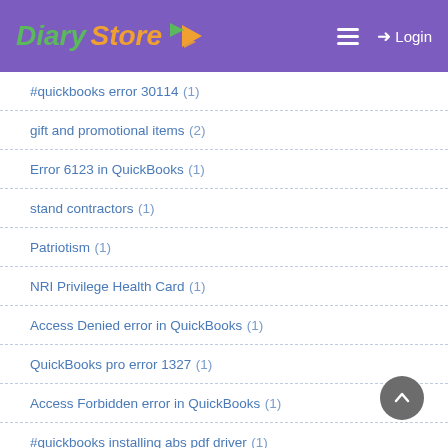Diary Store — Login
#quickbooks error 30114 (1)
gift and promotional items (2)
Error 6123 in QuickBooks (1)
stand contractors (1)
Patriotism (1)
NRI Privilege Health Card (1)
Access Denied error in QuickBooks (1)
QuickBooks pro error 1327 (1)
Access Forbidden error in QuickBooks (1)
#quickbooks installing abs pdf driver (1)
gift supplier (2)
MLM consultant in India (2)